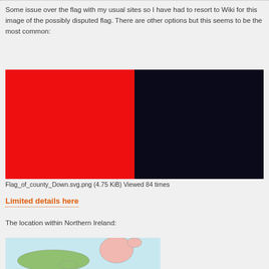Some issue over the flag with my usual sites so I have had to resort to Wiki for this image of the possibly disputed flag. There are other options but this seems to be the most common:
[Figure (illustration): Flag of County Down: left half is red, right half is dark navy/black. Two vertical rectangles side by side.]
Flag_of_county_Down.svg.png (4.75 KiB) Viewed 84 times
Limited details here
The location within Northern Ireland:
[Figure (map): Partial map showing location within Northern Ireland, light blue background with green and pink landmasses.]